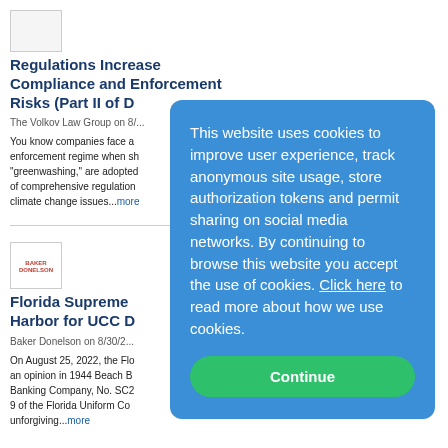[Figure (other): Thumbnail placeholder image for first article]
Regulations Increase Compliance and Enforcement Risks (Part II of ...
The Volkov Law Group on 8/...
You know companies face a... enforcement regime when s... "greenwashing," are adopted... of comprehensive regulation... climate change issues...more
[Figure (logo): Baker Donelson logo box]
Florida Supreme... Harbor for UCC ...
Baker Donelson on 8/30/2...
On August 25, 2022, the Flo... an opinion in 1944 Beach B... Banking Company, No. SC2... 9 of the Florida Uniform Co... unforgiving...more
This website uses cookies to improve user experience, track anonymous site usage, store authorization tokens and permit sharing on social media networks. By continuing to browse this website you accept the use of cookies. Click here to read more about how we use cookies.